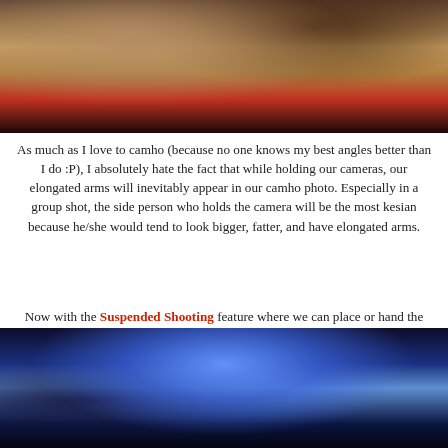[Figure (photo): Top portion of a photo showing people around a wooden table, with a red background wall, arms visible]
As much as I love to camho (because no one knows my best angles better than I do :P), I absolutely hate the fact that while holding our cameras, our elongated arms will inevitably appear in our camho photo. Especially in a group shot, the side person who holds the camera will be the most kesian because he/she would tend to look bigger, fatter, and have elongated arms.
Now with the Suspended Shooting feature where we can place or hand the camera ANYWHERE, everyone can appear pretty and hensem in all the group camho photos! ;)
[Figure (photo): Dark photo with blue lighting/light source visible, appears to be in a dim venue]